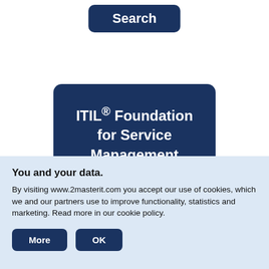[Figure (screenshot): Dark navy blue rounded button with bold white text reading 'Search']
ITIL® Foundation for Service Management
You and your data.
By visiting www.2masterit.com you accept our use of cookies, which we and our partners use to improve functionality, statistics and marketing. Read more in our cookie policy.
[Figure (screenshot): Two dark navy rounded buttons labeled 'More' and 'OK']